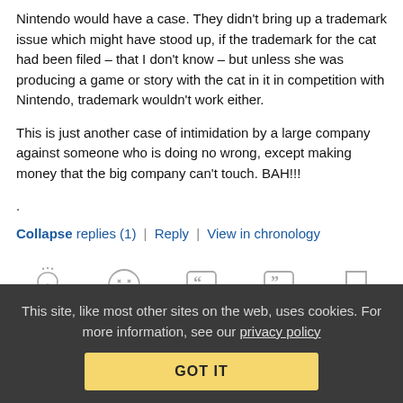Nintendo would have a case. They didn't bring up a trademark issue which might have stood up, if the trademark for the cat had been filed – that I don't know – but unless she was producing a game or story with the cat in it in competition with Nintendo, trademark wouldn't work either.
This is just another case of intimidation by a large company against someone who is doing no wrong, except making money that the big company can't touch. BAH!!!
.
Collapse replies (1) | Reply | View in chronology
[Figure (infographic): Row of five gray icon buttons: lightbulb (insight), laughing emoji (funny), left-quote speech bubble (quote start), right-quote speech bubble (quote end), and flag (report).]
This site, like most other sites on the web, uses cookies. For more information, see our privacy policy
GOT IT